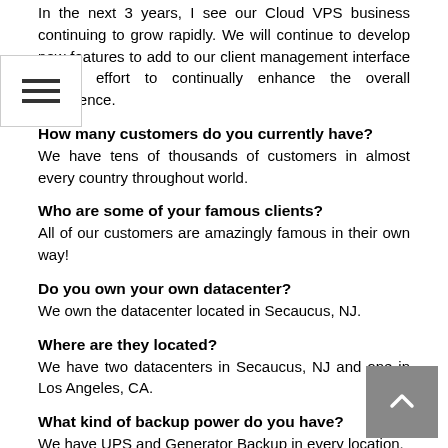In the next 3 years, I see our Cloud VPS business continuing to grow rapidly. We will continue to develop new features to add to our client management interface in an effort to continually enhance the overall experience.
How many customers do you currently have?
We have tens of thousands of customers in almost every country throughout world.
Who are some of your famous clients?
All of our customers are amazingly famous in their own way!
Do you own your own datacenter?
We own the datacenter located in Secaucus, NJ.
Where are they located?
We have two datacenters in Secaucus, NJ and one in Los Angeles, CA.
What kind of backup power do you have?
We have UPS and Generator Backup in every location.
Do you have multiple backbone connections?
Yes